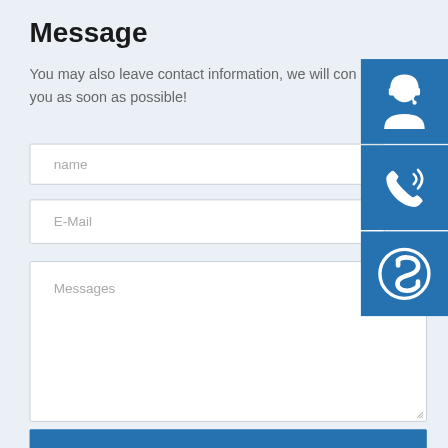Message
You may also leave contact information, we will contact you as soon as possible!
[Figure (illustration): Blue square icon with white customer support agent wearing headset]
[Figure (illustration): Blue square icon with white telephone/call icon with signal waves]
[Figure (illustration): Blue square icon with white Skype logo]
name
E-Mail
Messages